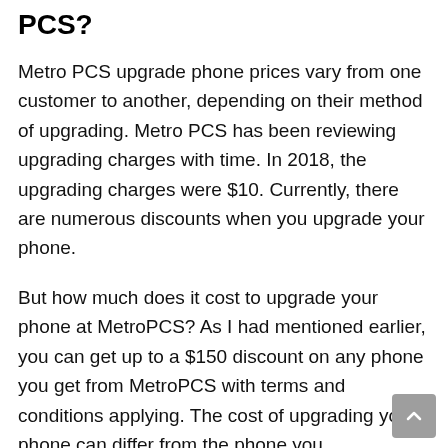PCS?
Metro PCS upgrade phone prices vary from one customer to another, depending on their method of upgrading. Metro PCS has been reviewing upgrading charges with time. In 2018, the upgrading charges were $10. Currently, there are numerous discounts when you upgrade your phone.
But how much does it cost to upgrade your phone at MetroPCS? As I had mentioned earlier, you can get up to a $150 discount on any phone you get from MetroPCS with terms and conditions applying. The cost of upgrading your phone can differ from the phone you...